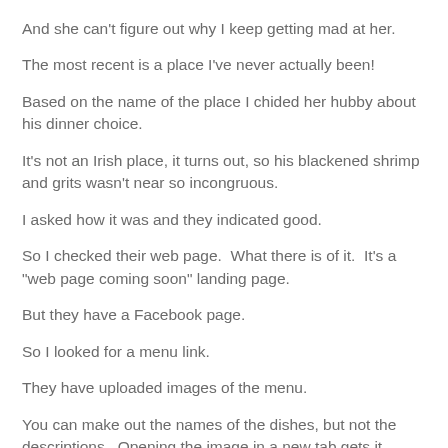And she can't figure out why I keep getting mad at her.
The most recent is a place I've never actually been!
Based on the name of the place I chided her hubby about his dinner choice.
It's not an Irish place, it turns out, so his blackened shrimp and grits wasn't near so incongruous.
I asked how it was and they indicated good.
So I checked their web page.  What there is of it.  It's a "web page coming soon" landing page.
But they have a Facebook page.
So I looked for a menu link.
They have uploaded images of the menu.
You can make out the names of the dishes, but not the descriptions.  Opening the image in a new tab gets it almost legible.